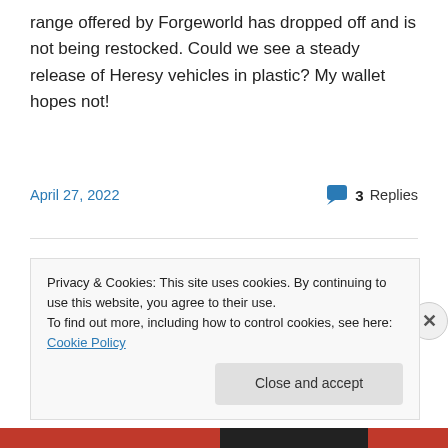range offered by Forgeworld has dropped off and is not being restocked. Could we see a steady release of Heresy vehicles in plastic? My wallet hopes not!
April 27, 2022
3 Replies
[Figure (logo): Antie Opus stylized cursive logo in large black italic script]
Privacy & Cookies: This site uses cookies. By continuing to use this website, you agree to their use.
To find out more, including how to control cookies, see here: Cookie Policy
Close and accept